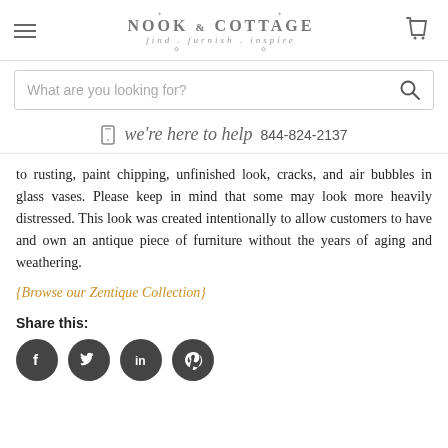Nook & Cottage — find . furnish . inspire
What are you looking for?
we're here to help 844-824-2137
to rusting, paint chipping, unfinished look, cracks, and air bubbles in glass vases. Please keep in mind that some may look more heavily distressed. This look was created intentionally to allow customers to have and own an antique piece of furniture without the years of aging and weathering.
{Browse our Zentique Collection}
Share this:
[Figure (infographic): Four social media circular icon buttons: Facebook (f), Twitter (bird), LinkedIn (in), Pinterest (p)]